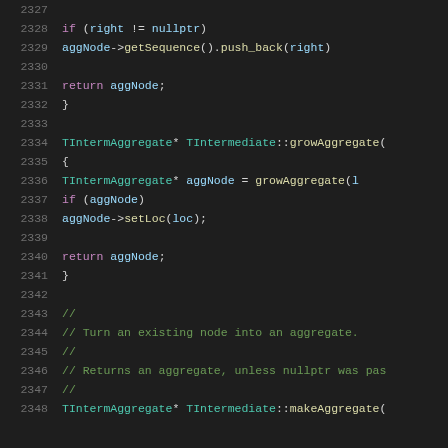[Figure (screenshot): Source code editor screenshot showing C++ code lines 2327-2348 with syntax highlighting on dark background. Shows functions growAggregate and makeAggregate of TIntermediate class, with keywords, types, and comments highlighted in different colors.]